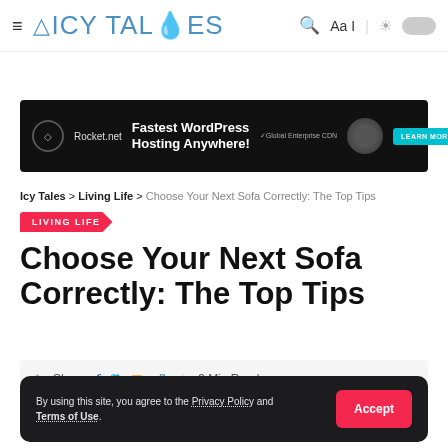ICY TALES
[Figure (screenshot): Rocket.net advertisement banner: Fastest WordPress Hosting Anywhere! with robot graphic and LEARN MORE button]
Icy Tales > Living Life > Choose Your Next Sofa Correctly: The Top Tips
LIVING LIFE
Choose Your Next Sofa Correctly: The Top Tips
Share | 3 Min Read
By using this site, you agree to the Privacy Policy and Terms of Use.